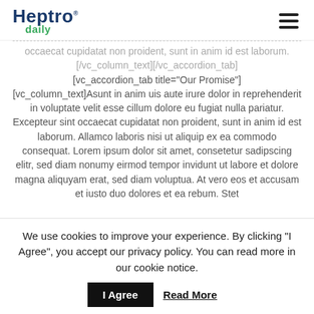Heptro daily
occaecat cupidatat non proident, sunt in anim id est laborum.[/vc_column_text][/vc_accordion_tab] [vc_accordion_tab title="Our Promise"] [vc_column_text]Asunt in anim uis aute irure dolor in reprehenderit in voluptate velit esse cillum dolore eu fugiat nulla pariatur. Excepteur sint occaecat cupidatat non proident, sunt in anim id est laborum. Allamco laboris nisi ut aliquip ex ea commodo consequat. Lorem ipsum dolor sit amet, consetetur sadipscing elitr, sed diam nonumy eirmod tempor invidunt ut labore et dolore magna aliquyam erat, sed diam voluptua. At vero eos et accusam et iusto duo dolores et ea rebum. Stet
We use cookies to improve your experience. By clicking "I Agree", you accept our privacy policy. You can read more in our cookie notice.
I Agree  Read More